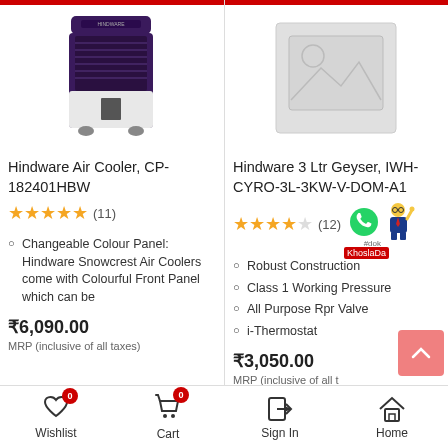[Figure (photo): Hindware air cooler product image - purple and white tower cooler]
[Figure (photo): Placeholder image for product with no photo available]
Hindware Air Cooler, CP-182401HBW
Hindware 3 Ltr Geyser, IWH-CYRO-3L-3KW-V-DOM-A1
★★★★★ (11)
★★★★☆ (12)
Changeable Colour Panel: Hindware Snowcrest Air Coolers come with Colourful Front Panel which can be
Robust Construction
Class 1 Working Pressure
All Purpose Rpr Valve
i-Thermostat
₹6,090.00
₹3,050.00
Wishlist  Cart  Sign In  Home